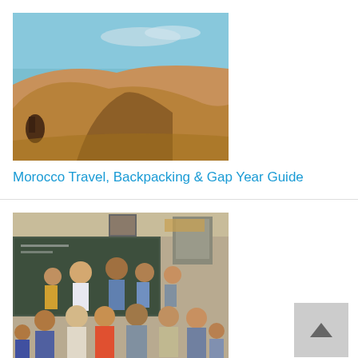[Figure (photo): Desert sand dunes in Morocco with camel rider on the left side, blue sky in background]
Morocco Travel, Backpacking & Gap Year Guide
[Figure (photo): Group photo of adults and children in a classroom with a chalkboard, in Morocco]